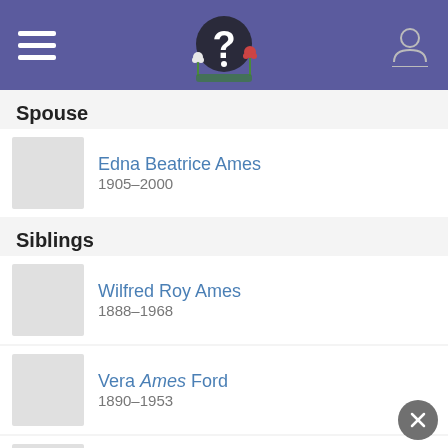Genealogy app header with hamburger menu, logo, and profile icon
Spouse
Edna Beatrice Ames, 1905–2000
Siblings
Wilfred Roy Ames, 1888–1968
Vera Ames Ford, 1890–1953
Maud Marilda Ames Coffey, 1892–1973
Charles T Ames, 1893–1981
Harold D. Ames